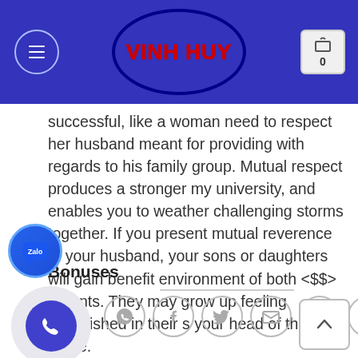[Figure (logo): Vinh Huy logo: red bold text 'VINH HUY' inside a blue oval on a dark blue navigation bar with hamburger menu and cart icon showing 0]
successful, like a woman need to respect her husband meant for providing with regards to his family group. Mutual respect produces a stronger my university, and enables you to weather challenging storms together. If you present mutual reverence to your husband, your sons or daughters will gain benefit environment of both <$$> parents. They may grow up feeling established in their s your head of the home.
Bonuses
[Figure (screenshot): Zalo chat button (blue circle with Zalo icon), phone call button (large circle with phone icon), and social share icons row: WhatsApp, Facebook, Twitter, Email, Pinterest, LinkedIn]